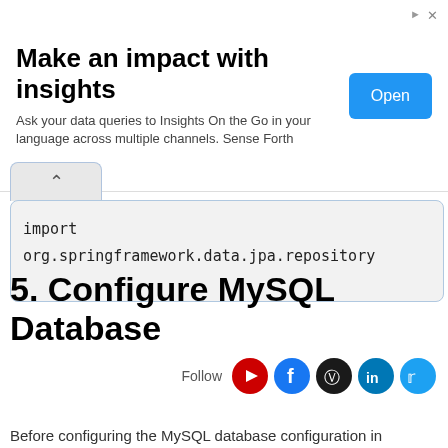[Figure (infographic): Advertisement banner: 'Make an impact with insights' with subtitle 'Ask your data queries to Insights On the Go in your language across multiple channels. Sense Forth' and a blue Open button]
[Figure (screenshot): Code block showing Java import statements and interface declaration: import org.springframework.data.jpa.repository, import net.javaguides.sms.entity.Student;, public interface StudentRepository extends Jpa, }]
5. Configure MySQL Database
[Figure (infographic): Follow social media icons: YouTube, Facebook, GitHub, LinkedIn, Twitter]
Before configuring the MySQL database configuration in